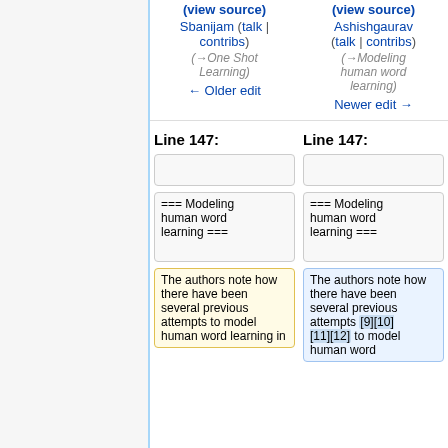(view source) Sbanijam (talk | contribs) (→One Shot Learning) ← Older edit
(view source) Ashishgaurav (talk | contribs) (→Modeling human word learning) Newer edit →
Line 147:
Line 147:
=== Modeling human word learning ===
=== Modeling human word learning ===
The authors note how there have been several previous attempts to model human word learning in
The authors note how there have been several previous attempts [9][10][11][12] to model human word